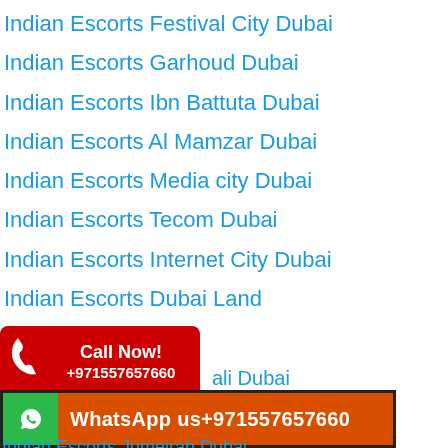Indian Escorts Festival City Dubai
Indian Escorts Garhoud Dubai
Indian Escorts Ibn Battuta Dubai
Indian Escorts Al Mamzar Dubai
Indian Escorts Media city Dubai
Indian Escorts Tecom Dubai
Indian Escorts Internet City Dubai
Indian Escorts Dubai Land
Indian Escorts ... ali Dubai
Indian Escorts Meadows Dubai
Indian Escorts Emirates Hills Dubai
Indian Escorts Jumeirah Dubai
[Figure (infographic): Call Now! +971557657660 button with red background and phone icon]
[Figure (infographic): WhatsApp us+971557657660 banner with orange background and green WhatsApp icon]